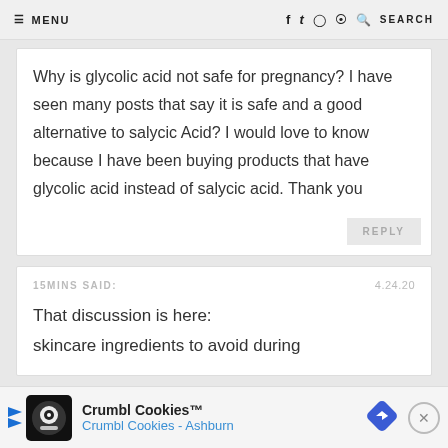MENU | SEARCH
Why is glycolic acid not safe for pregnancy? I have seen many posts that say it is safe and a good alternative to salycic Acid? I would love to know because I have been buying products that have glycolic acid instead of salycic acid. Thank you
REPLY
15MINS SAID:
4.24.20
That discussion is here:
skincare ingredients to avoid during
[Figure (infographic): Crumbl Cookies advertisement banner with logo, store name Crumbl Cookies - Ashburn, navigation arrow icon, and close button]